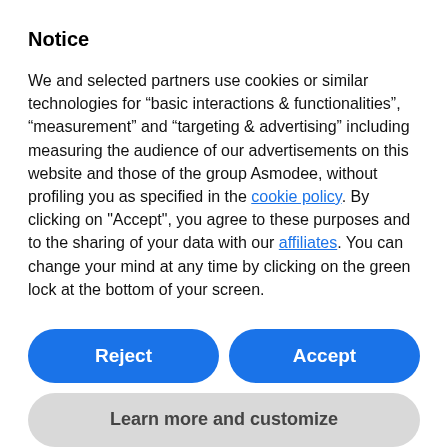Notice
We and selected partners use cookies or similar technologies for “basic interactions & functionalities”, “measurement” and “targeting & advertising” including measuring the audience of our advertisements on this website and those of the group Asmodee, without profiling you as specified in the cookie policy. By clicking on "Accept", you agree to these purposes and to the sharing of your data with our affiliates. You can change your mind at any time by clicking on the green lock at the bottom of your screen.
Reject
Accept
Learn more and customize
The Power of Necromancy
Among the many ways in which Count Vlad's ability alters the